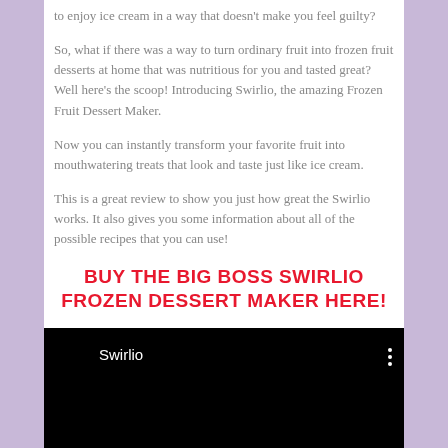to enjoy ice cream in a way that doesn't make you feel guilty?
So, what if there was a way to turn ordinary fruit into frozen fruit desserts at home that was nutritious for you and tasted great? Well here's the scoop! Introducing Swirlio, the amazing Frozen Fruit Dessert Maker.
Now you can instantly transform your favorite fruit into mouthwatering treats that look and taste just like ice cream.
This is a great review to show you just how great the Swirlio works. It also gives you some information about all of the possible recipes that you can use!
BUY THE BIG BOSS SWIRLIO FROZEN DESSERT MAKER HERE!
[Figure (screenshot): Black video player thumbnail with title 'Swirlio' in white text and a three-dot menu icon on the right.]